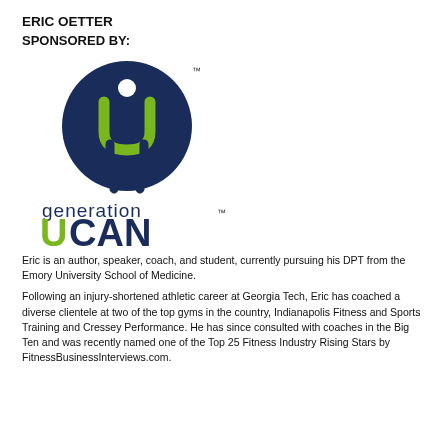ERIC OETTER
SPONSORED BY:
[Figure (logo): Generation UCAN logo: a dark navy blue circle with a stylized human figure made of a green U shape on top and a navy arch/legs on bottom, with a small white circle for the head and a TM mark. Below the circle, the text 'generation' in dark navy lowercase letters, then 'UCAN' in large letters with a green U and dark navy CAN, with a TM superscript.]
Eric is an author, speaker, coach, and student, currently pursuing his DPT from the Emory University School of Medicine.
Following an injury-shortened athletic career at Georgia Tech, Eric has coached a diverse clientele at two of the top gyms in the country, Indianapolis Fitness and Sports Training and Cressey Performance. He has since consulted with coaches in the Big Ten and was recently named one of the Top 25 Fitness Industry Rising Stars by FitnessBusinessInterviews.com.